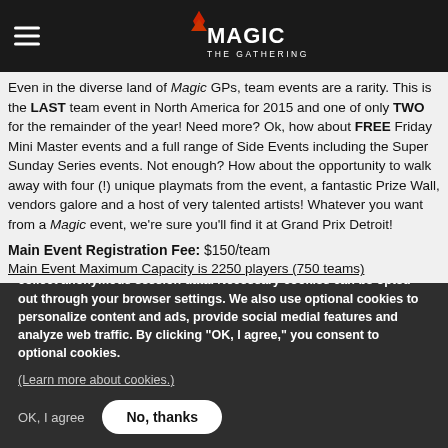Magic: The Gathering
Even in the diverse land of Magic GPs, team events are a rarity. This is the LAST team event in North America for 2015 and one of only TWO for the remainder of the year! Need more? Ok, how about FREE Friday Mini Master events and a full range of Side Events including the Super Sunday Series events. Not enough? How about the opportunity to walk away with four (!) unique playmats from the event, a fantastic Prize Wall, vendors galore and a host of very talented artists! Whatever you want from a Magic event, we're sure you'll find it at Grand Prix Detroit!
Main Event Registration Fee: $150/team
Main Event Maximum Capacity is 2250 players (750 teams)
We use necessary cookies to allow our site to function correctly and collect anonymous session data. Necessary cookies can be opted out through your browser settings. We also use optional cookies to personalize content and ads, provide social medial features and analyze web traffic. By clicking “OK, I agree,” you consent to optional cookies.
(Learn more about cookies.)
OK, I agree
No, thanks